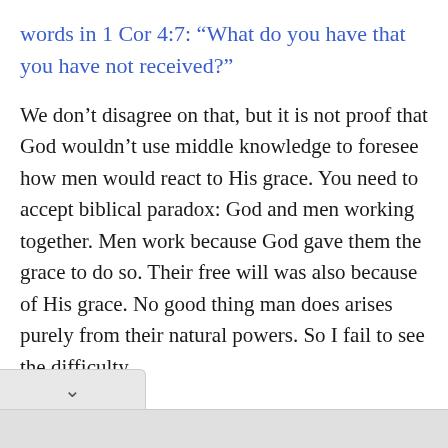words in 1 Cor 4:7: “What do you have that you have not received?”
We don’t disagree on that, but it is not proof that God wouldn’t use middle knowledge to foresee how men would react to His grace. You need to accept biblical paradox: God and men working together. Men work because God gave them the grace to do so. Their free will was also because of His grace. No good thing man does arises purely from their natural powers. So I fail to see the difficulty.